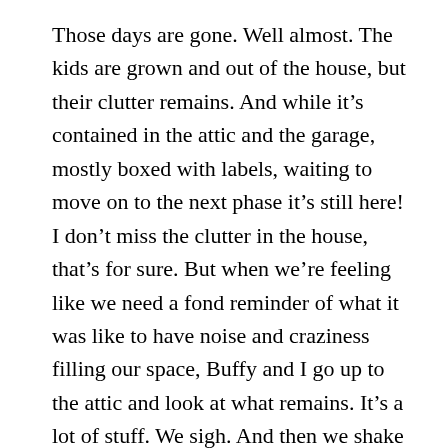Those days are gone. Well almost. The kids are grown and out of the house, but their clutter remains. And while it's contained in the attic and the garage, mostly boxed with labels, waiting to move on to the next phase it's still here! I don't miss the clutter in the house, that's for sure. But when we're feeling like we need a fond reminder of what it was like to have noise and craziness filling our space, Buffy and I go up to the attic and look at what remains. It's a lot of stuff. We sigh. And then we shake our heads, with thoughts of the cat we lost. After we clean up a little, we check to make sure our new dog is still around, we give each other a high five and walk through the house, mostly clear of clutter.